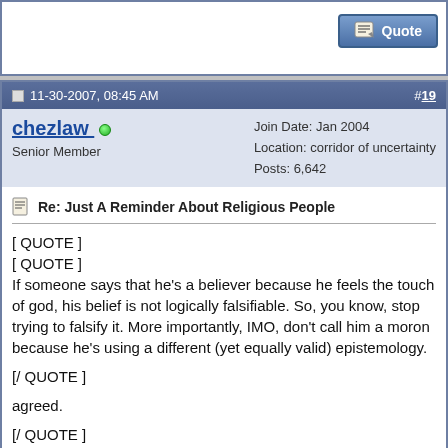[Figure (screenshot): Top of a forum post with a Quote button in the top right corner]
11-30-2007, 08:45 AM  #19
chezlaw (online) Senior Member
Join Date: Jan 2004
Location: corridor of uncertainty
Posts: 6,642
Re: Just A Reminder About Religious People
[ QUOTE ]
[ QUOTE ]
If someone says that he's a believer because he feels the touch of god, his belief is not logically falsifiable. So, you know, stop trying to falsify it. More importantly, IMO, don't call him a moron because he's using a different (yet equally valid) epistemology.

[/ QUOTE ]

agreed.

[/ QUOTE ]
I feel like its logically falsifiable. Don't knock my equaly valid epistemology.

or what a load of tosh. Its not about falsifiability, if the believer recognises its a feely type of thing rather than a rational belief then bully for them but they cannot be taken seriously if they place their belief as more valid then others